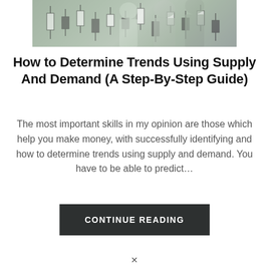[Figure (photo): Partial photo of people in business attire standing in front of a financial candlestick chart, cropped at the top of the page]
How to Determine Trends Using Supply And Demand (A Step-By-Step Guide)
The most important skills in my opinion are those which help you make money, with successfully identifying and how to determine trends using supply and demand. You have to be able to predict…
CONTINUE READING